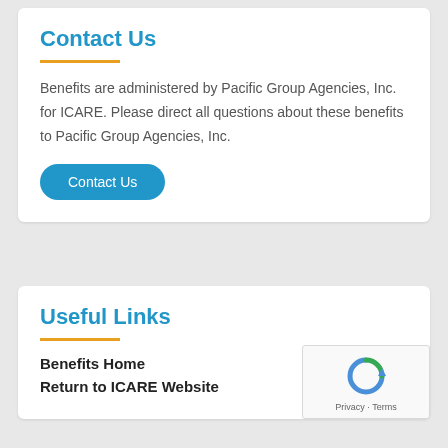Contact Us
Benefits are administered by Pacific Group Agencies, Inc. for ICARE. Please direct all questions about these benefits to Pacific Group Agencies, Inc.
Contact Us
Useful Links
Benefits Home
Return to ICARE Website